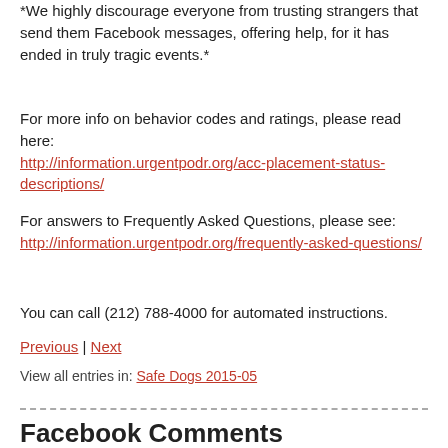*We highly discourage everyone from trusting strangers that send them Facebook messages, offering help, for it has ended in truly tragic events.*
For more info on behavior codes and ratings, please read here: http://information.urgentpodr.org/acc-placement-status-descriptions/
For answers to Frequently Asked Questions, please see: http://information.urgentpodr.org/frequently-asked-questions/
You can call (212) 788-4000 for automated instructions.
Previous | Next
View all entries in: Safe Dogs 2015-05
Facebook Comments